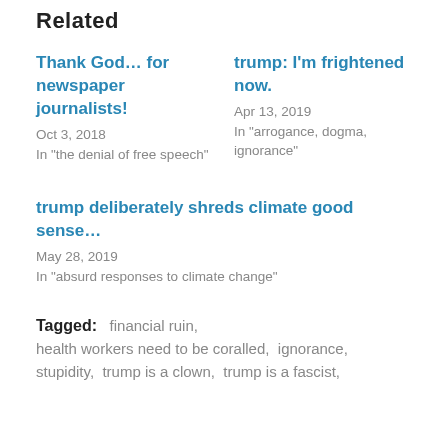Related
Thank God… for newspaper journalists!
Oct 3, 2018
In "the denial of free speech"
trump: I'm frightened now.
Apr 13, 2019
In "arrogance, dogma, ignorance"
trump deliberately shreds climate good sense…
May 28, 2019
In "absurd responses to climate change"
Tagged:   financial ruin,  health workers need to be coralled,  ignorance,  stupidity,  trump is a clown,  trump is a fascist,